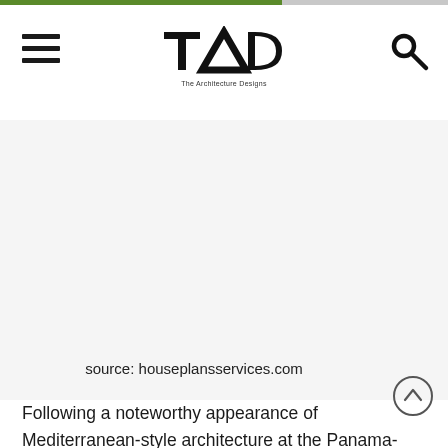TAD - The Architecture Designs
[Figure (screenshot): White/blank content area representing a missing or unloaded image placeholder]
source: houseplansservices.com
Following a noteworthy appearance of Mediterranean-style architecture at the Panama-